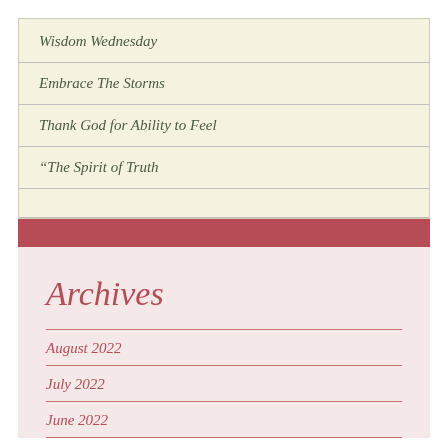Wisdom Wednesday
Embrace The Storms
Thank God for Ability to Feel
“The Spirit of Truth
Archives
August 2022
July 2022
June 2022